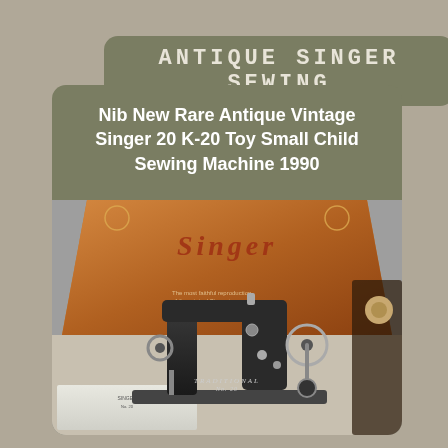ANTIQUE SINGER SEWING
Nib New Rare Antique Vintage Singer 20 K-20 Toy Small Child Sewing Machine 1990
[Figure (photo): Photo of a vintage Singer 20 K-20 toy small child sewing machine in original box, showing the black cast iron machine with hand crank alongside the orange/brown Singer branded box, with product manual/paperwork visible at the bottom.]